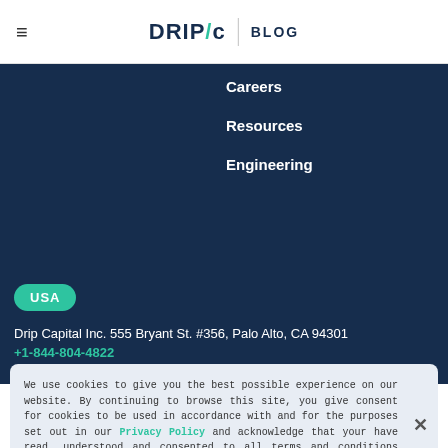DRIP/c BLOG
Careers
Resources
Engineering
USA
Drip Capital Inc. 555 Bryant St. #356, Palo Alto, CA 94301
+1-844-804-4822
We use cookies to give you the best possible experience on our website. By continuing to browse this site, you give consent for cookies to be used in accordance with and for the purposes set out in our Privacy Policy and acknowledge that your have read, understood and consented to all terms and conditions therein.